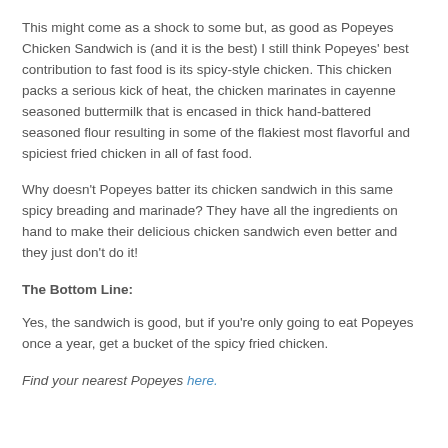This might come as a shock to some but, as good as Popeyes Chicken Sandwich is (and it is the best) I still think Popeyes' best contribution to fast food is its spicy-style chicken. This chicken packs a serious kick of heat, the chicken marinates in cayenne seasoned buttermilk that is encased in thick hand-battered seasoned flour resulting in some of the flakiest most flavorful and spiciest fried chicken in all of fast food.
Why doesn't Popeyes batter its chicken sandwich in this same spicy breading and marinade? They have all the ingredients on hand to make their delicious chicken sandwich even better and they just don't do it!
The Bottom Line:
Yes, the sandwich is good, but if you're only going to eat Popeyes once a year, get a bucket of the spicy fried chicken.
Find your nearest Popeyes here.